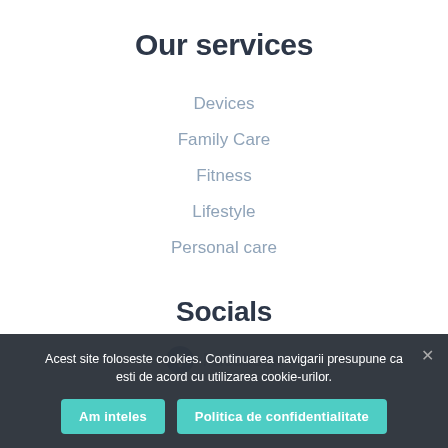Our services
Devices
Family Care
Fitness
Lifestyle
Personal care
Socials
Facebook
Acest site foloseste cookies. Continuarea navigarii presupune ca esti de acord cu utilizarea cookie-urilor.
Am inteles
Politica de confidentialitate